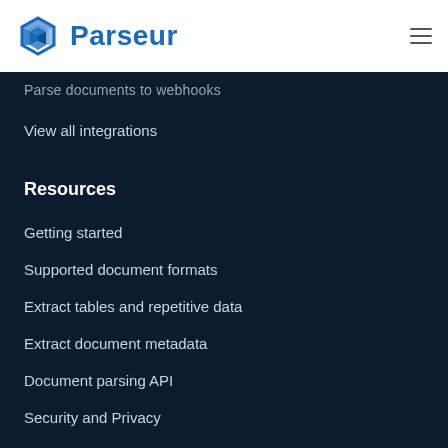Parseur
Parse documents to webhooks
View all integrations
Resources
Getting started
Supported document formats
Extract tables and repetitive data
Extract document metadata
Document parsing API
Security and Privacy